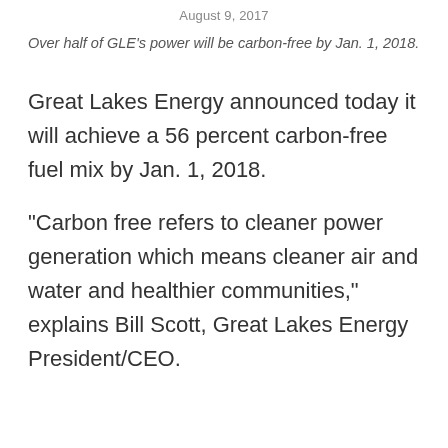August 9, 2017
Over half of GLE’s power will be carbon-free by Jan. 1, 2018.
Great Lakes Energy announced today it will achieve a 56 percent carbon-free fuel mix by Jan. 1, 2018.
“Carbon free refers to cleaner power generation which means cleaner air and water and healthier communities,” explains Bill Scott, Great Lakes Energy President/CEO.